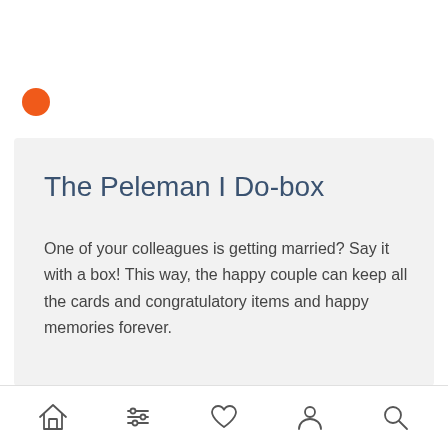[Figure (other): Orange filled circle bullet point]
The Peleman I Do-box
One of your colleagues is getting married? Say it with a box! This way, the happy couple can keep all the cards and congratulatory items and happy memories forever.
[Figure (photo): Partially visible product photo at the bottom of the card]
Home | Filters | Favorites | Account | Search navigation bar